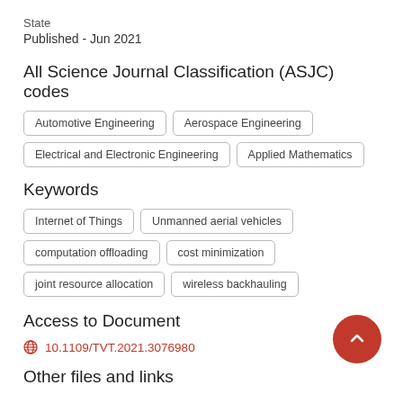State
Published - Jun 2021
All Science Journal Classification (ASJC) codes
Automotive Engineering
Aerospace Engineering
Electrical and Electronic Engineering
Applied Mathematics
Keywords
Internet of Things
Unmanned aerial vehicles
computation offloading
cost minimization
joint resource allocation
wireless backhauling
Access to Document
10.1109/TVT.2021.3076980
Other files and links